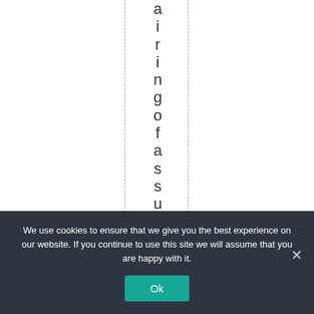a i r i n g o f a s s u m p t i o n
We use cookies to ensure that we give you the best experience on our website. If you continue to use this site we will assume that you are happy with it.
Ok